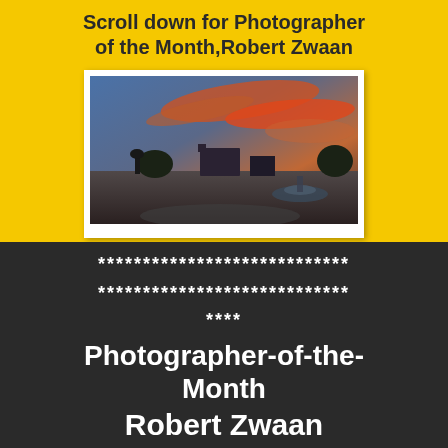Scroll down for Photographer of the Month,Robert Zwaan
[Figure (photo): Cityscape at sunset with dramatic orange and red clouds, a fountain in the foreground right, a statue on the left, and classical buildings in the background]
****************************
****************************
****
Photographer-of-the-Month
Robert Zwaan